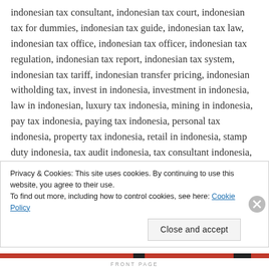indonesian tax consultant, indonesian tax court, indonesian tax for dummies, indonesian tax guide, indonesian tax law, indonesian tax office, indonesian tax officer, indonesian tax regulation, indonesian tax report, indonesian tax system, indonesian tax tariff, indonesian transfer pricing, indonesian witholding tax, invest in indonesia, investment in indonesia, law in indonesian, luxury tax indonesia, mining in indonesia, pay tax indonesia, paying tax indonesia, personal tax indonesia, property tax indonesia, retail in indonesia, stamp duty indonesia, tax audit indonesia, tax consultant indonesia, tax court indonesia, tax law indonesia, tax object indonesia, tax office indonesia, tax officer indonesia, tax regulation indonesia, tax report indonesia, tax object indonesia, tax...
Privacy & Cookies: This site uses cookies. By continuing to use this website, you agree to their use. To find out more, including how to control cookies, see here: Cookie Policy
Close and accept
EFRONT PAGE